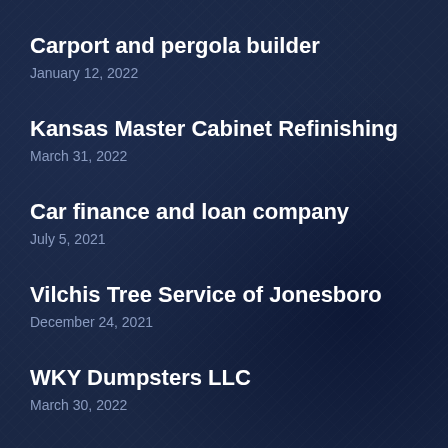Carport and pergola builder
January 12, 2022
Kansas Master Cabinet Refinishing
March 31, 2022
Car finance and loan company
July 5, 2021
Vilchis Tree Service of Jonesboro
December 24, 2021
WKY Dumpsters LLC
March 30, 2022